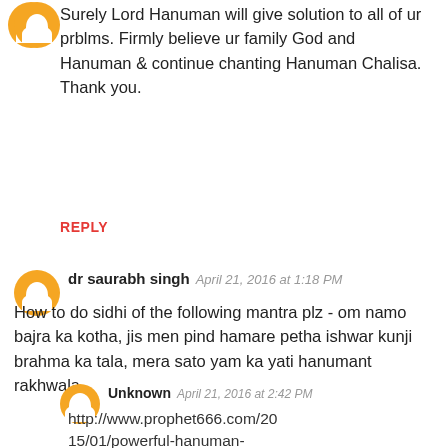Surely Lord Hanuman will give solution to all of ur prblms. Firmly believe ur family God and Hanuman & continue chanting Hanuman Chalisa. Thank you.
REPLY
dr saurabh singh  April 21, 2016 at 1:18 PM
How to do sidhi of the following mantra plz - om namo bajra ka kotha, jis men pind hamare petha ishwar kunji brahma ka tala, mera sato yam ka yati hanumant rakhwala
Unknown  April 21, 2016 at 2:42 PM
http://www.prophet666.com/2015/01/powerful-hanuman-atma-raksha-mantra.html2